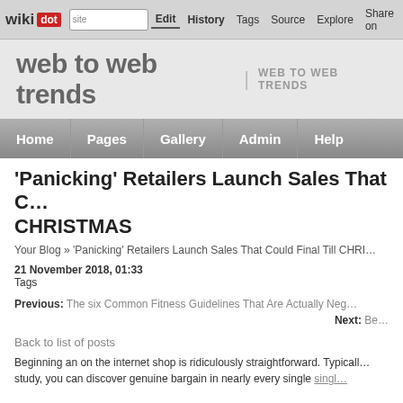wikidot | site | Edit | History | Tags | Source | Explore | Share on [Twitter]
web to web trends | WEB TO WEB TRENDS
Home | Pages | Gallery | Admin | Help
'Panicking' Retailers Launch Sales That Could Final Till CHRISTMAS
Your Blog » 'Panicking' Retailers Launch Sales That Could Final Till CHRI...
21 November 2018, 01:33
Tags
Previous: The six Common Fitness Guidelines That Are Actually Neg...
Next: Be...
Back to list of posts
Beginning an on the internet shop is ridiculously straightforward. Typically... study, you can discover genuine bargain in nearly every single...